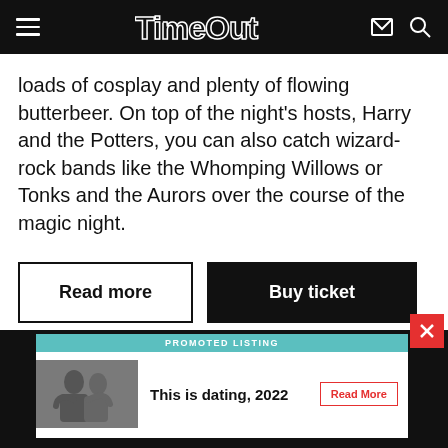TimeOut
loads of cosplay and plenty of flowing butterbeer. On top of the night's hosts, Harry and the Potters, you can also catch wizard-rock bands like the Whomping Willows or Tonks and the Aurors over the course of the magic night.
Read more
Buy ticket
[Figure (other): Promoted listing advertisement banner showing a couple hugging with text 'This is dating, 2022' and a 'Read More' button in teal-bordered style.]